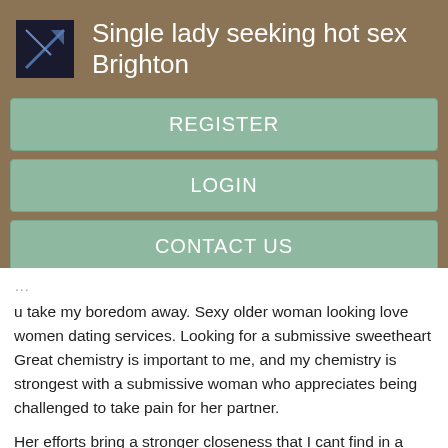Single lady seeking hot sex Brighton
REGISTER
LOGIN
CONTACT US
u take my boredom away. Sexy older woman looking love women dating services. Looking for a submissive sweetheart Great chemistry is important to me, and my chemistry is strongest with a submissive woman who appreciates being challenged to take pain for her partner.
Her efforts bring a stronger closeness that I cant find in a vanilla relationship.